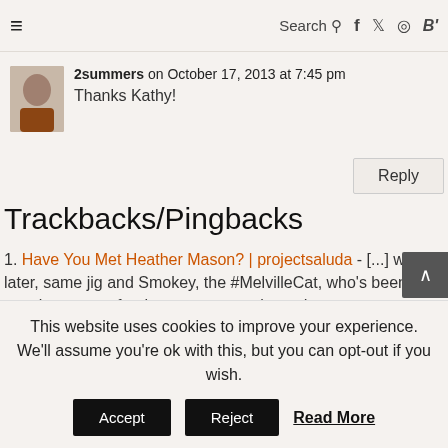≡  Search 🔍  f  twitter  instagram  B'
2summers on October 17, 2013 at 7:45 pm
Thanks Kathy!
Trackbacks/Pingbacks
1. Have You Met Heather Mason? | projectsaluda - [...] weeks later, same jig and Smokey, the #MelvilleCat, who's been wearing a cone for the past two weeks and...
2. Have You Met Heather Mason? | Afrikan Worrier - [...] weeks later, same jig and Smokey, the #MelvilleCat, who's
This website uses cookies to improve your experience. We'll assume you're ok with this, but you can opt-out if you wish.
Accept  Reject  Read More